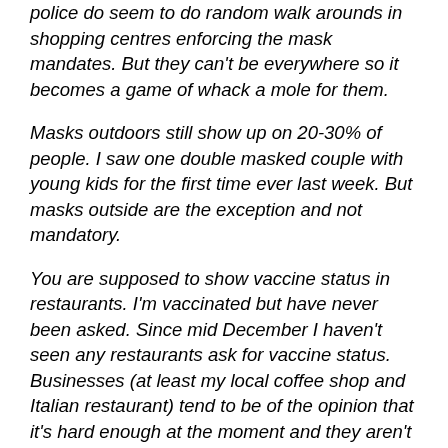police do seem to do random walk arounds in shopping centres enforcing the mask mandates. But they can't be everywhere so it becomes a game of whack a mole for them.
Masks outdoors still show up on 20-30% of people. I saw one double masked couple with young kids for the first time ever last week. But masks outside are the exception and not mandatory.
You are supposed to show vaccine status in restaurants. I'm vaccinated but have never been asked. Since mid December I haven't seen any restaurants ask for vaccine status. Businesses (at least my local coffee shop and Italian restaurant) tend to be of the opinion that it's hard enough at the moment and they aren't going to enforce the government's rules for them and risk an unhappy customer. They've never been checked by police, and did